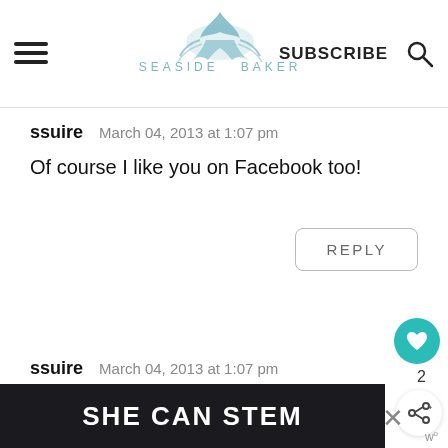SEASIDE BAKER | SUBSCRIBE
ssuire   March 04, 2013 at 1:07 pm
Of course I like you on Facebook too!
REPLY
ssuire   March 04, 2013 at 1:07 pm
I also follow you on Twitter and I love
[Figure (screenshot): SHE CAN STEM banner advertisement at bottom of page]